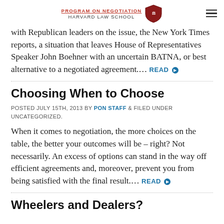PROGRAM ON NEGOTIATION HARVARD LAW SCHOOL
with Republican leaders on the issue, the New York Times reports, a situation that leaves House of Representatives Speaker John Boehner with an uncertain BATNA, or best alternative to a negotiated agreement.... READ ▶
Choosing When to Choose
POSTED JULY 15TH, 2013 BY PON STAFF & FILED UNDER UNCATEGORIZED.
When it comes to negotiation, the more choices on the table, the better your outcomes will be – right? Not necessarily. An excess of options can stand in the way off efficient agreements and, moreover, prevent you from being satisfied with the final result.... READ ▶
Wheelers and Dealers?